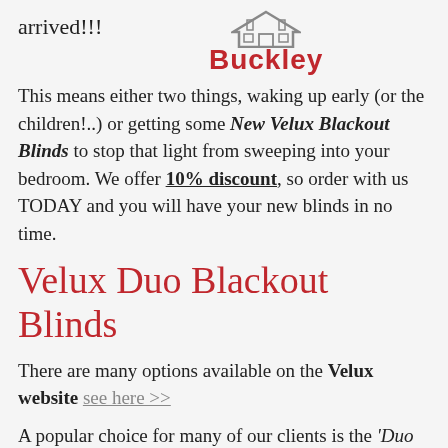arrived!!!
[Figure (logo): Buckley logo with house/roof icon above the red bold text 'Buckley']
This means either two things, waking up early (or the children!..) or getting some New Velux Blackout Blinds to stop that light from sweeping into your bedroom. We offer 10% discount, so order with us TODAY and you will have your new blinds in no time.
Velux Duo Blackout Blinds
There are many options available on the Velux website see here >>
A popular choice for many of our clients is the 'Duo Blackout Blind' option as shown in the pictures